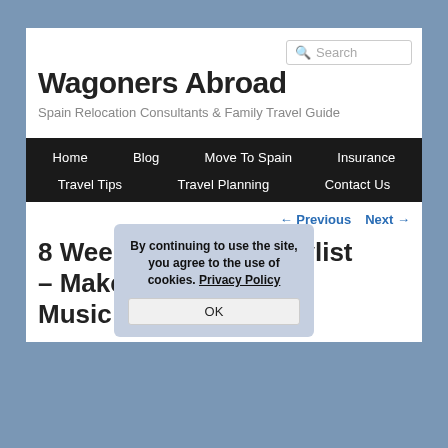Wagoners Abroad
Spain Relocation Consultants & Family Travel Guide
Home  Blog  Move To Spain  Insurance  Travel Tips  Travel Planning  Contact Us
← Previous   Next →
8 Week Road Trip Playlist – Make Memories with Music
By continuing to use the site, you agree to the use of cookies. Privacy Policy
OK